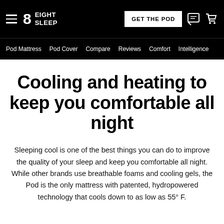Eight Sleep — GET THE POD — Pod Mattress  Pod Cover  Compare  Reviews  Comfort  Intelligence
Cooling and heating to keep you comfortable all night
Sleeping cool is one of the best things you can do to improve the quality of your sleep and keep you comfortable all night. While other brands use breathable foams and cooling gels, the Pod is the only mattress with patented, hydropowered technology that cools down to as low as 55° F.